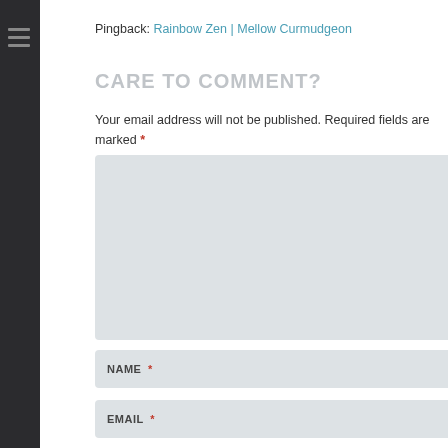Pingback: Rainbow Zen | Mellow Curmudgeon
CARE TO COMMENT?
Your email address will not be published. Required fields are marked *
COMMENT *
NAME *
EMAIL *